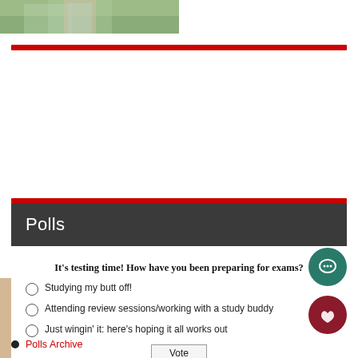[Figure (photo): Partial photo of a person in a light blue/teal outfit standing on grass, cropped to show lower body only]
Polls
It's testing time! How have you been preparing for exams?
Studying my butt off!
Attending review sessions/working with a study buddy
Just wingin' it: here's hoping it all works out
Vote
View Results
Polls Archive